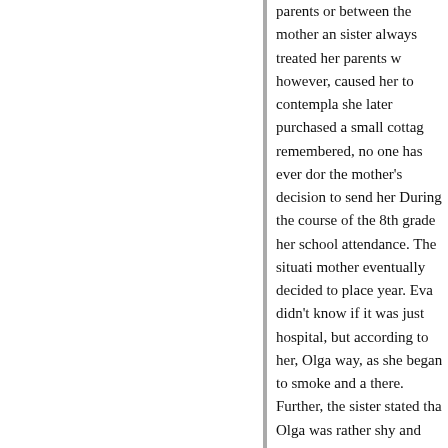parents or between the mother and sister always treated her parents w however, caused her to contempla she later purchased a small cottag remembered, no one has ever dor the mother's decision to send her During the course of the 8th grade her school attendance. The situati mother eventually decided to place year. Eva didn't know if it was just hospital, but according to her, Olga way, as she began to smoke and a there. Further, the sister stated tha Olga was rather shy and introverte one who would look after her. As f She also mentioned that, after finis and later moved to Oleško to live i other purely by chance.
Since Olga's mother MUDr. Anna l estate in Zábrodi, the first questio was very brief, as she had to answ in Náchod received from the invos